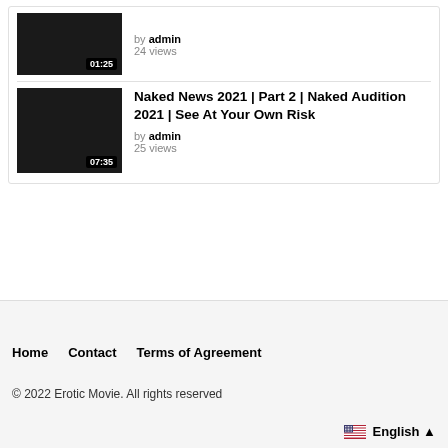[Figure (screenshot): Video thumbnail with duration 01:25, dark background]
by admin
24 views
[Figure (screenshot): Video thumbnail with duration 07:35, dark background]
Naked News 2021 | Part 2 | Naked Audition 2021 | See At Your Own Risk
by admin
25 views
Home
Contact
Terms of Agreement
© 2022 Erotic Movie. All rights reserved
English